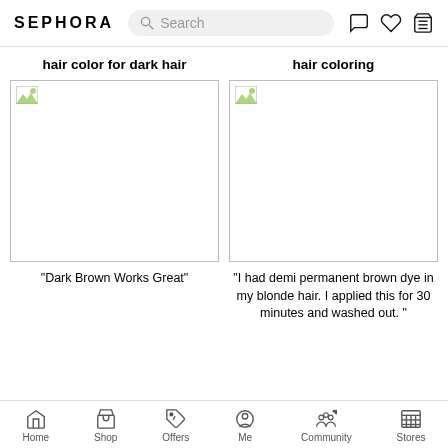SEPHORA — Search bar with icons
hair color for dark hair
[Figure (photo): Broken image placeholder for hair color for dark hair product]
“Dark Brown Works Great”
hair coloring
[Figure (photo): Broken image placeholder for hair coloring product]
“I had demi permanent brown dye in my blonde hair. I applied this for 30 minutes and washed out.”
Home  Shop  Offers  Me  Community  Stores